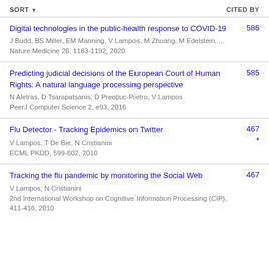SORT  CITED BY
Digital technologies in the public-health response to COVID-19
J Budd, BS Miller, EM Manning, V Lampos, M Zhuang, M Edelstein, ...
Nature Medicine 26, 1183-1192, 2020
586
Predicting judicial decisions of the European Court of Human Rights: A natural language processing perspective
N Aletras, D Tsarapatsanis, D Preoțiuc-Pietro, V Lampos
PeerJ Computer Science 2, e93, 2016
585
Flu Detector - Tracking Epidemics on Twitter
V Lampos, T De Bie, N Cristianini
ECML PKDD, 599-602, 2010
467 *
Tracking the flu pandemic by monitoring the Social Web
V Lampos, N Cristianini
2nd International Workshop on Cognitive Information Processing (CIP), 411-416, 2010
467